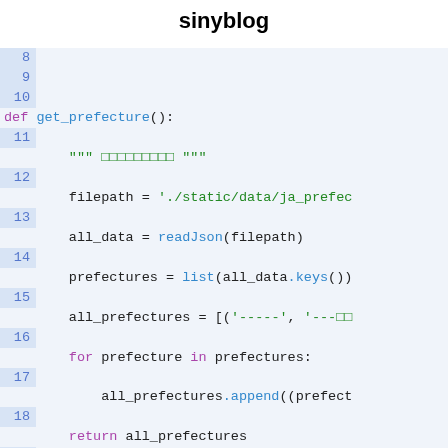sinyblog
[Figure (screenshot): Python source code listing with line numbers 8-31, showing functions get_prefecture(), return_cities_by_prefecture(), and class AddressForm definition with syntax highlighting.]